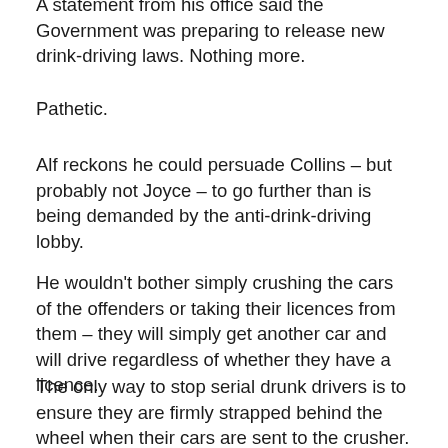A statement from his office said the Government was preparing to release new drink-driving laws. Nothing more.
Pathetic.
Alf reckons he could persuade Collins – but probably not Joyce – to go further than is being demanded by the anti-drink-driving lobby.
He wouldn't bother simply crushing the cars of the offenders or taking their licences from them – they will simply get another car and will drive regardless of whether they have a licence.
The only way to stop serial drunk drivers is to ensure they are firmly strapped behind the wheel when their cars are sent to the crusher.
A good candidate for this treatment is featured in a report